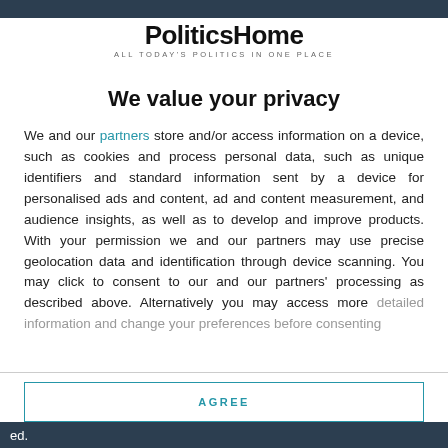[Figure (logo): PoliticsHome logo with tagline ALL TODAY'S POLITICS IN ONE PLACE]
We value your privacy
We and our partners store and/or access information on a device, such as cookies and process personal data, such as unique identifiers and standard information sent by a device for personalised ads and content, ad and content measurement, and audience insights, as well as to develop and improve products. With your permission we and our partners may use precise geolocation data and identification through device scanning. You may click to consent to our and our partners' processing as described above. Alternatively you may access more detailed information and change your preferences before consenting
AGREE
MORE OPTIONS